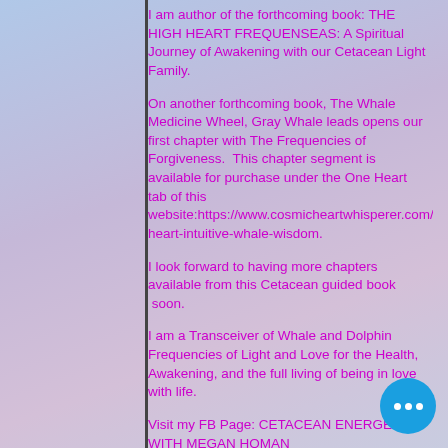I am author of the forthcoming book: THE HIGH HEART FREQUENSEAS: A Spiritual Journey of Awakening with our Cetacean Light Family.
On another forthcoming book, The Whale Medicine Wheel, Gray Whale leads opens our first chapter with The Frequencies of Forgiveness. This chapter segment is available for purchase under the One Heart tab of this website:https://www.cosmicheartwhisperer.com/one-heart-intuitive-whale-wisdom.
I look forward to having more chapters available from this Cetacean guided book soon.
I am a Transceiver of Whale and Dolphin Frequencies of Light and Love for the Health, Awakening, and the full living of being in love with life.
Visit my FB Page: CETACEAN ENERGETICS WITH MEGAN HOMAN
YouTube Channel:https://www.youtube.com/channel/U